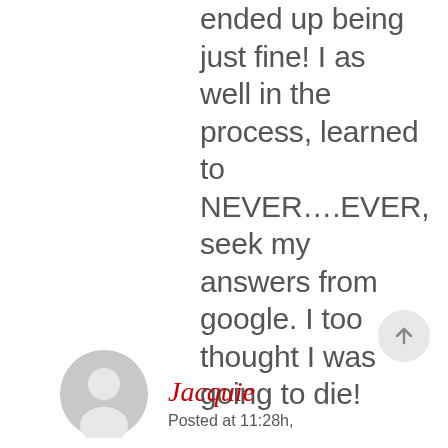ended up being just fine! I as well in the process, learned to NEVER….EVER, seek my answers from google. I too thought I was going to die!
[Figure (illustration): Circular scroll-to-top button with upward arrow, light gray background]
[Figure (illustration): Generic user avatar icon, gray circle with person silhouette]
Jacquie
Posted at 11:28h,